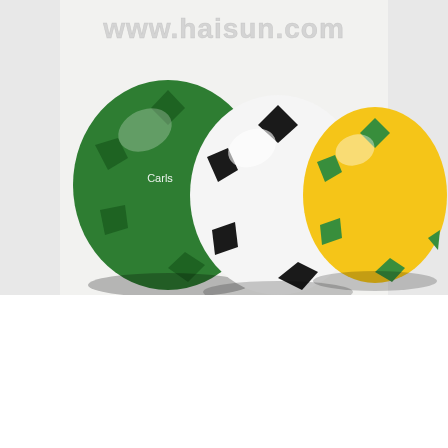[Figure (photo): Three soccer/football stress balls in different colors: green (leftmost, with Carlsberg logo), white with black patches (center), and yellow with green patches (right), displayed against a white background. A watermark reading www.haisun.com appears at the top.]
July 20, 2013
by Promotional Gifts